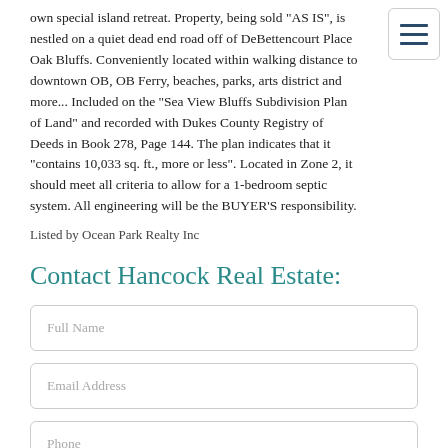own special island retreat. Property, being sold "AS IS", is nestled on a quiet dead end road off of DeBettencourt Place Oak Bluffs. Conveniently located within walking distance to downtown OB, OB Ferry, beaches, parks, arts district and more... Included on the "Sea View Bluffs Subdivision Plan of Land" and recorded with Dukes County Registry of Deeds in Book 278, Page 144. The plan indicates that it "contains 10,033 sq. ft., more or less". Located in Zone 2, it should meet all criteria to allow for a 1-bedroom septic system. All engineering will be the BUYER'S responsibility.
Listed by Ocean Park Realty Inc
Contact Hancock Real Estate:
Full Name
Email Address
Phone